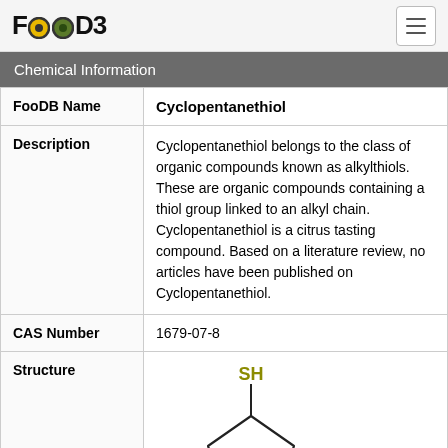FooDB
Chemical Information
| Field | Value |
| --- | --- |
| FooDB Name | Cyclopentanethiol |
| Description | Cyclopentanethiol belongs to the class of organic compounds known as alkylthiols. These are organic compounds containing a thiol group linked to an alkyl chain. Cyclopentanethiol is a citrus tasting compound. Based on a literature review, no articles have been published on Cyclopentanethiol. |
| CAS Number | 1679-07-8 |
| Structure | [cyclopentanethiol structure diagram with SH group and download buttons: MOL, SDF, PDB, SMILES, InChI] |
[Figure (engineering-diagram): Chemical structure of cyclopentanethiol: a cyclopentane ring with an SH (thiol) group attached at the top carbon. The SH label is shown in olive/yellow-green color.]